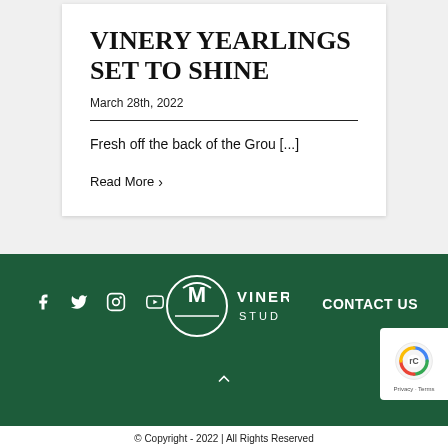VINERY YEARLINGS SET TO SHINE
March 28th, 2022
Fresh off the back of the Grou [...]
Read More >
[Figure (logo): Vinery Stud logo with social media icons (Facebook, Twitter, Instagram, YouTube) and CONTACT US link on dark green footer]
© Copyright - 2022 | All Rights Reserved